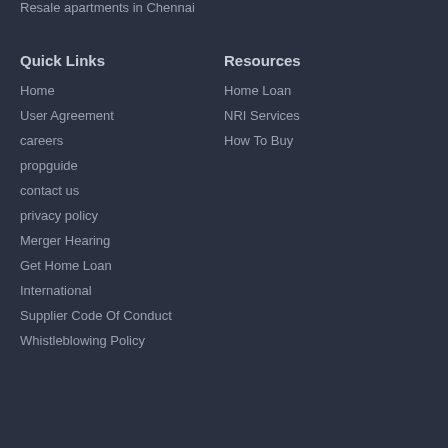Resale apartments in Chennai
Quick Links
Resources
Home
Home Loan
User Agreement
NRI Services
careers
How To Buy
propguide
contact us
privacy policy
Merger Hearing
Get Home Loan
International
Supplier Code Of Conduct
Whistleblowing Policy